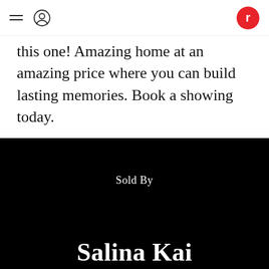[Hamburger menu] [User icon] [r logo]
this one! Amazing home at an amazing price where you can build lasting memories. Book a showing today.
[Figure (photo): Black background card with 'Sold By' text at center top and partial agent name 'Salina Kai' appearing at bottom in large white serif font.]